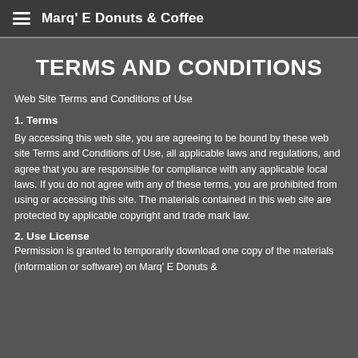Marq' E Donuts & Coffee
TERMS AND CONDITIONS
Web Site Terms and Conditions of Use
1. Terms
By accessing this web site, you are agreeing to be bound by these web site Terms and Conditions of Use, all applicable laws and regulations, and agree that you are responsible for compliance with any applicable local laws. If you do not agree with any of these terms, you are prohibited from using or accessing this site. The materials contained in this web site are protected by applicable copyright and trade mark law.
2. Use License
Permission is granted to temporarily download one copy of the materials (information or software) on Marq' E Donuts &